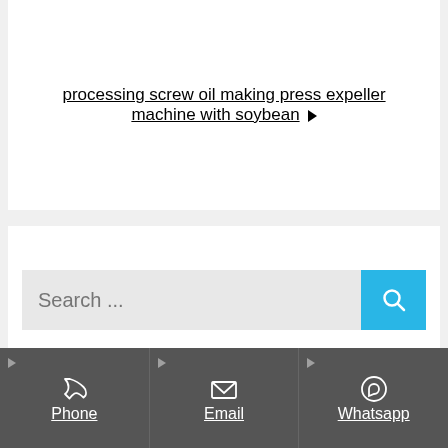processing screw oil making press expeller machine with soybean ▶
[Figure (other): Search bar with cyan search button]
Categories
[Figure (infographic): Dark contact bar with three columns: Phone (phone icon), Email (envelope icon), Whatsapp (whatsapp icon)]